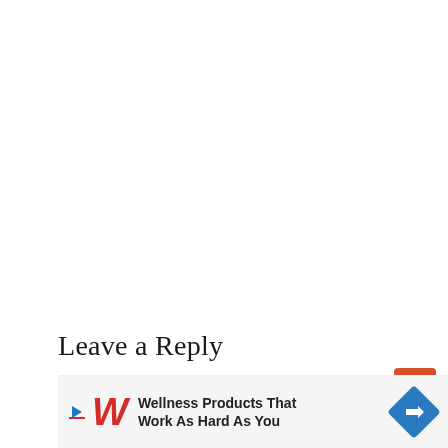Leave a Reply
Your email address will not be published. Required fields are marked *
[Figure (other): Orange/red scroll-to-top arrow button]
Comment
[Figure (other): Walgreens wellness products advertisement banner: 'Wellness Products That Work As Hard As You']